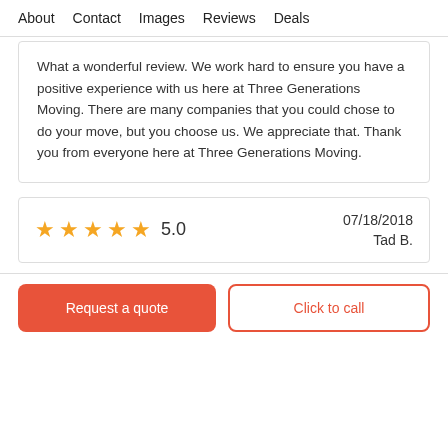About   Contact   Images   Reviews   Deals
What a wonderful review. We work hard to ensure you have a positive experience with us here at Three Generations Moving. There are many companies that you could chose to do your move, but you choose us. We appreciate that. Thank you from everyone here at Three Generations Moving.
★★★★★ 5.0   07/18/2018   Tad B.
Request a quote
Click to call